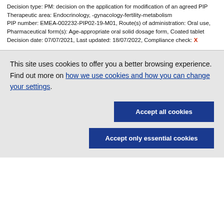Decision type: PM: decision on the application for modification of an agreed PIP
Therapeutic area: Endocrinology, -gynacology-fertility-metabolism
PIP number: EMEA-002232-PIP02-19-M01, Route(s) of administration: Oral use, Pharmaceutical form(s): Age-appropriate oral solid dosage form, Coated tablet
Decision date: 07/07/2021, Last updated: 18/07/2022, Compliance check: X
This site uses cookies to offer you a better browsing experience. Find out more on how we use cookies and how you can change your settings.
Accept all cookies
Accept only essential cookies